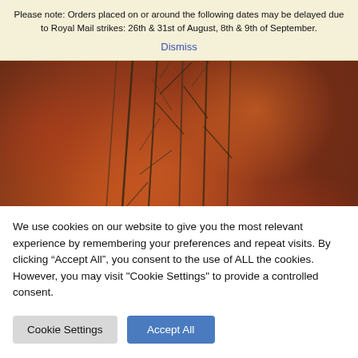Please note: Orders placed on or around the following dates may be delayed due to Royal Mail strikes: 26th & 31st of August, 8th & 9th of September.
Dismiss
[Figure (photo): Close-up photograph of plant stems and branches with blurred red and orange floral background bokeh]
We use cookies on our website to give you the most relevant experience by remembering your preferences and repeat visits. By clicking “Accept All”, you consent to the use of ALL the cookies. However, you may visit "Cookie Settings" to provide a controlled consent.
Cookie Settings
Accept All